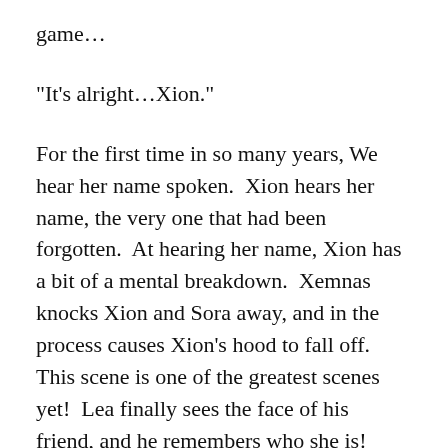game…
“It’s alright…Xion.”
For the first time in so many years, We hear her name spoken.  Xion hears her name, the very one that had been forgotten.  At hearing her name, Xion has a bit of a mental breakdown.  Xemnas knocks Xion and Sora away, and in the process causes Xion’s hood to fall off.  This scene is one of the greatest scenes yet!  Lea finally sees the face of his friend, and he remembers who she is!  This was a big deal!  My sisters and I were all screaming “HE REMEMBERS!!!”  Oh, it was wonderful!
Anyhow, he calls out her name upon realization of who